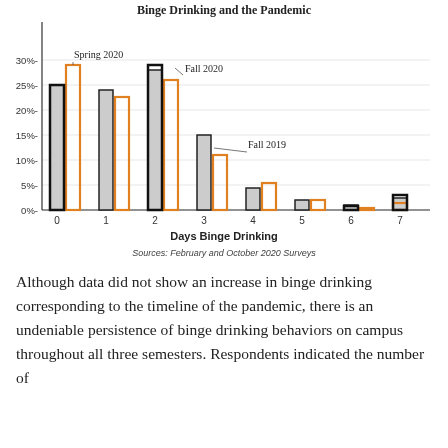[Figure (grouped-bar-chart): Binge Drinking and the Pandemic]
Sources: February and October 2020 Surveys
Although data did not show an increase in binge drinking corresponding to the timeline of the pandemic, there is an undeniable persistence of binge drinking behaviors on campus throughout all three semesters. Respondents indicated the number of